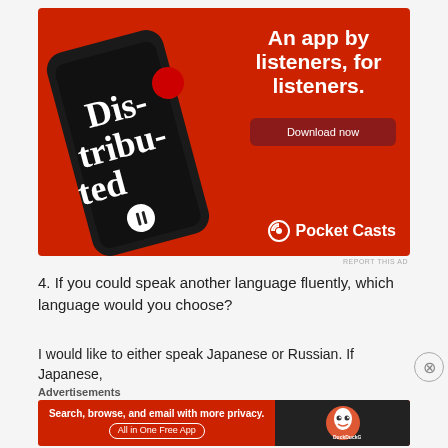[Figure (infographic): Pocket Casts app advertisement on red background showing a smartphone with podcast app open and text 'An app by listeners, for listeners.' with a Download now button and Pocket Casts logo]
REPORT THIS AD
4. If you could speak another language fluently, which language would you choose?
I would like to either speak Japanese or Russian. If Japanese,
Advertisements
[Figure (infographic): DuckDuckGo advertisement: 'Search, browse, and email with more privacy. All in One Free App' on red background with DuckDuckGo logo on dark right panel]